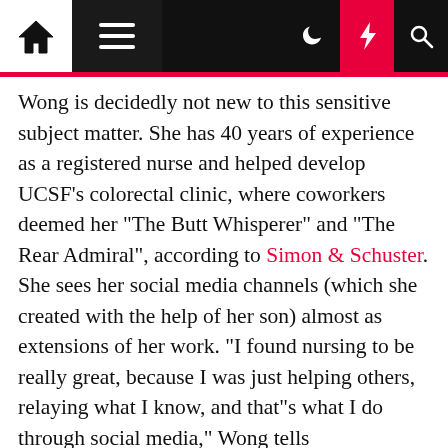[Navigation bar with home, menu, dark mode, lightning, and search icons]
Wong is decidedly not new to this sensitive subject matter. She has 40 years of experience as a registered nurse and helped develop UCSF's colorectal clinic, where coworkers deemed her "The Butt Whisperer" and "The Rear Admiral", according to Simon & Schuster. She sees her social media channels (which she created with the help of her son) almost as extensions of her work. "I found nursing to be really great, because I was just helping others, relaying what I know, and that"s what I do through social media," Wong tells POPSUGAR. Now, her book aims to flush out the secrets to maintaining consistent, healthy poops. "The book is a little bit more extensive . . . [We] hone it down and get back into a more realistic conversation," Wong explains. Over the course of nine chapters, Wong educates readers on their digestive systems, including what